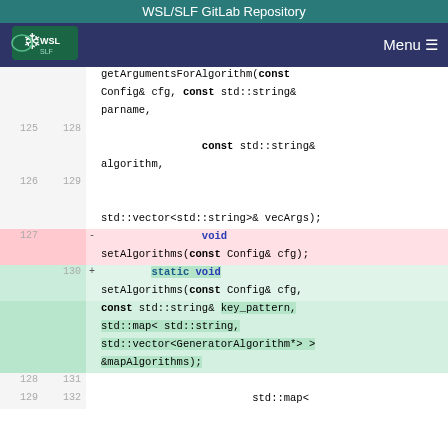WSL/SLF GitLab Repository
[Figure (logo): WSL/SLF logo with snowflake icon]
Menu ≡
getArgumentsForAlgorithm(const Config& cfg, const std::string& parname,
                        const std::string& algorithm,

std::vector<std::string>& vecArgs);
127  -  void setAlgorithms(const Config& cfg);
130  +  static void setAlgorithms(const Config& cfg, const std::string& key_pattern, std::map< std::string, std::vector<GeneratorAlgorithm*> > &mapAlgorithms);
128  131
129  132  std::map<